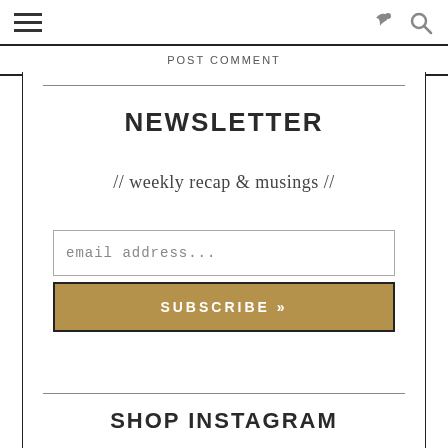POST COMMENT
NEWSLETTER
// weekly recap & musings //
email address...
SUBSCRIBE »
SHOP INSTAGRAM